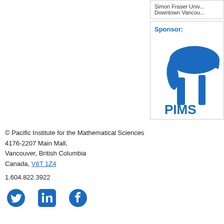Simon Fraser Univ...
Downtown Vancou...
Sponsor:
[Figure (logo): PIMS (Pacific Institute for Mathematical Sciences) logo in blue, showing a stylized mushroom/pi symbol above the text PIMS]
© Pacific Institute for the Mathematical Sciences
4176-2207 Main Mall,
Vancouver, British Columbia
Canada, V6T 1Z4

1.604.822.3922
[Figure (logo): Twitter, LinkedIn, and Facebook social media icons in blue]